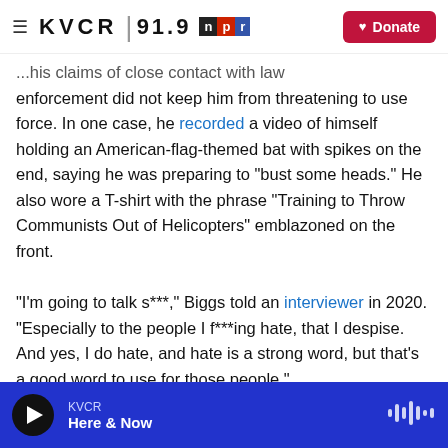≡ KVCR 91.9 npr  Donate
...his claims of close contact with law enforcement did not keep him from threatening to use force. In one case, he recorded a video of himself holding an American-flag-themed bat with spikes on the end, saying he was preparing to "bust some heads." He also wore a T-shirt with the phrase "Training to Throw Communists Out of Helicopters" emblazoned on the front.

"I'm going to talk s***," Biggs told an interviewer in 2020. "Especially to the people I f***ing hate, that I despise. And yes, I do hate, and hate is a strong word, but that's a good word to use for those people."
KVCR  Here & Now